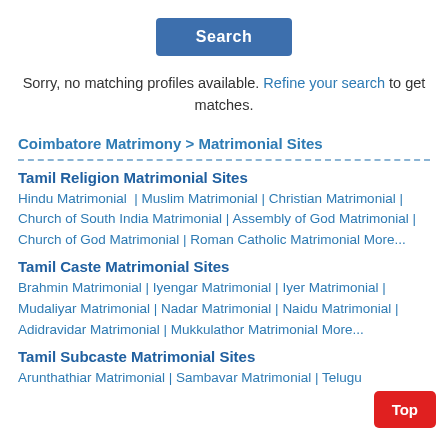[Figure (other): Search button]
Sorry, no matching profiles available. Refine your search to get matches.
Coimbatore Matrimony > Matrimonial Sites
Tamil Religion Matrimonial Sites
Hindu Matrimonial  | Muslim Matrimonial | Christian Matrimonial | Church of South India Matrimonial | Assembly of God Matrimonial | Church of God Matrimonial | Roman Catholic Matrimonial More...
Tamil Caste Matrimonial Sites
Brahmin Matrimonial | Iyengar Matrimonial | Iyer Matrimonial | Mudaliyar Matrimonial | Nadar Matrimonial | Naidu Matrimonial | Adidravidar Matrimonial | Mukkulathor Matrimonial More...
Tamil Subcaste Matrimonial Sites
Arunthathiar Matrimonial | Sambavar Matrimonial | Telugu